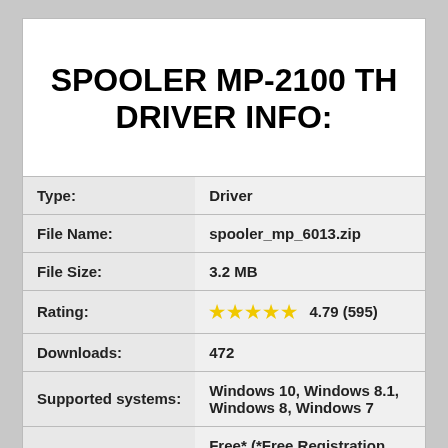SPOOLER MP-2100 TH DRIVER INFO:
|  |  |
| --- | --- |
| Type: | Driver |
| File Name: | spooler_mp_6013.zip |
| File Size: | 3.2 MB |
| Rating: | ★★★★★ 4.79 (595) |
| Downloads: | 472 |
| Supported systems: | Windows 10, Windows 8.1, Windows 8, Windows 7 |
| Price: | Free* (*Free Registration Required) |
Download Now